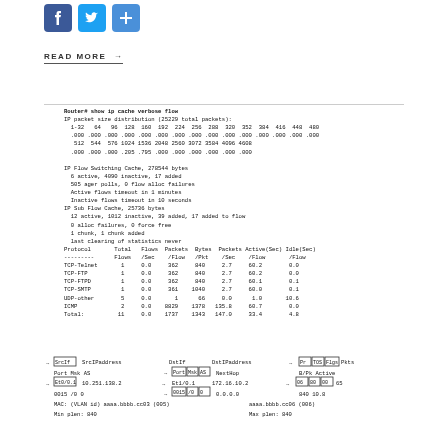[Figure (infographic): Social media sharing icons: Facebook (blue f), Twitter (blue bird), Share (blue plus)]
READ MORE →
Router# show ip cache verbose flow
IP packet size distribution (25229 total packets):
  1-32   64   96  128  160  192  224  256  288  320  352  384  416  448  480
  .000 .000 .000 .000 .000 .000 .000 .000 .000 .000 .000 .000 .000 .000 .000
   512  544  576 1024 1536 2048 2560 3072 3584 4096 4608
  .000 .000 .000 .205 .795 .000 .000 .000 .000 .000 .000

IP Flow Switching Cache, 278544 bytes
  6 active, 4090 inactive, 17 added
  505 ager polls, 0 flow alloc failures
  Active flows timeout in 1 minutes
  Inactive flows timeout in 10 seconds
IP Sub Flow Cache, 25736 bytes
  12 active, 1012 inactive, 39 added, 17 added to flow
  0 alloc failures, 0 force free
  1 chunk, 1 chunk added
  last clearing of statistics never
Protocol       Total   Flows  Packets  Bytes  Packets Active(Sec) Idle(Sec)
---------      Flows   /Sec    /Flow   /Pkt    /Sec    /Flow       /Flow
TCP-Telnet       1     0.0     362     840     2.7     60.2        0.0
TCP-FTP          1     0.0     362     840     2.7     60.2        0.0
TCP-FTPD         1     0.0     362     840     2.7     60.1        0.1
TCP-SMTP         1     0.0     361    1040     2.7     60.0        0.1
UDP-other        5     0.0       1      66     0.0      1.0       10.6
ICMP             2     0.0    8829    1378   135.8     60.7        0.0
Total:          11     0.0    1737    1343   147.0     33.4        4.8
[Figure (schematic): Network flow diagram showing SrcIf, SrcIPaddress, DstIf, DstIPaddress fields with arrows, boxes for Port/Msk/AS, Pr/TOS/Flgs/Pkts, Et0/0.1 → Et1/0.1, IP addresses 10.251.138.2 and 172.16.10.2, MAC addresses, Min plen: 840, Max plen: 840]